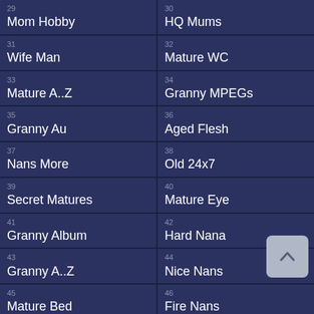29 Mom Hobby
30 HQ Mums
31 Wife Man
32 Mature WC
33 Mature A..Z
34 Granny MPEGs
35 Granny Au
36 Aged Flesh
37 Nans More
38 Old 24x7
39 Secret Matures
40 Mature Eye
41 Granny Album
42 Hard Nana
43 Granny A..Z
44 Nice Nans
45 Mature Bed
46 Fire Nans